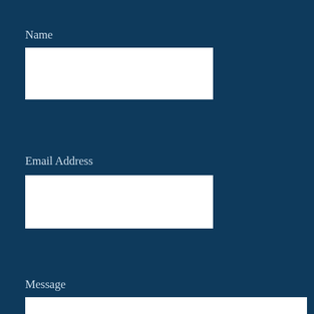Name
[Figure (other): Empty white input field for Name]
Email Address
[Figure (other): Empty white input field for Email Address]
Message
[Figure (other): Empty white textarea for Message]